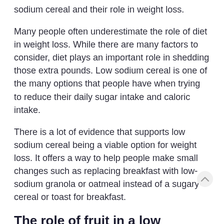sodium cereal and their role in weight loss.
Many people often underestimate the role of diet in weight loss. While there are many factors to consider, diet plays an important role in shedding those extra pounds. Low sodium cereal is one of the many options that people have when trying to reduce their daily sugar intake and caloric intake.
There is a lot of evidence that supports low sodium cereal being a viable option for weight loss. It offers a way to help people make small changes such as replacing breakfast with low-sodium granola or oatmeal instead of a sugary cereal or toast for breakfast.
The role of fruit in a low sodium breakfast meal strategy
Fruit is a nutritious and healthy food choice that can also help people with weight loss by providing some key nutrients and...